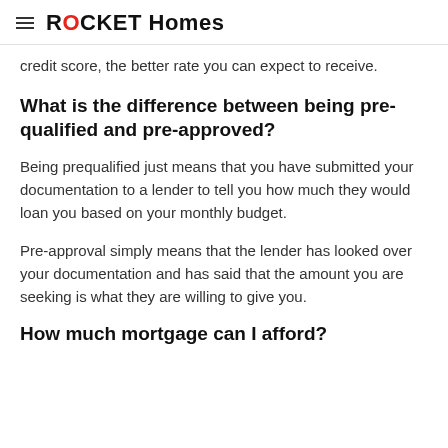ROCKET Homes
credit score, the better rate you can expect to receive.
What is the difference between being pre-qualified and pre-approved?
Being prequalified just means that you have submitted your documentation to a lender to tell you how much they would loan you based on your monthly budget.
Pre-approval simply means that the lender has looked over your documentation and has said that the amount you are seeking is what they are willing to give you.
How much mortgage can I afford?